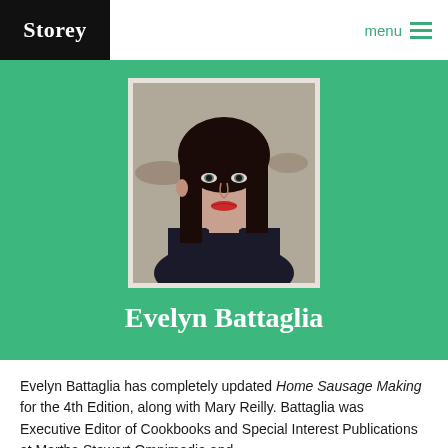Storey | menu
[Figure (photo): Portrait photo of Evelyn Battaglia, a woman with long dark hair and red lipstick, wearing a dark jacket, with stacked firewood in the background.]
Evelyn Battaglia
Evelyn Battaglia has completely updated Home Sausage Making for the 4th Edition, along with Mary Reilly. Battaglia was Executive Editor of Cookbooks and Special Interest Publications at Martha Stewart Omnimedia and